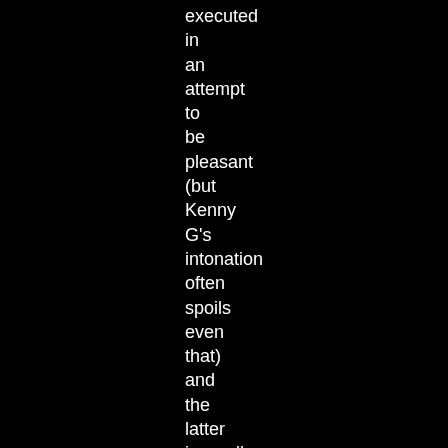executed
in
an
attempt
to
be
pleasant
(but
Kenny
G's
intonation
often
spoils
even
that)
and
the
latter
is...well
I
actually
don't
even